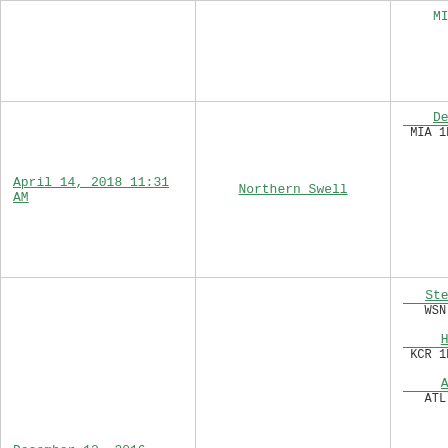| Date | Team | Players/Details |
| --- | --- | --- |
|  |  | MIL SP R $… |
| April 14, 2018 11:31 AM | Northern Swell | Derek Diet…
MIA 1B/2B/3B L
$9 loa… |
| December 12, 2016 10:04 PM | Shizzo and The … | Stephen Str…
WSN SP R $41…
Hunter Do…
KCR 1B/3B/OF R…
Adonis Ga…
ATL AAA Util… |
| August 18, 2016 9:23 PM | Memento Mori … | Jake Arri…
CHC SP R …
Derek Diet…
MIA 1B/2B/3B L…
$20 loa… |